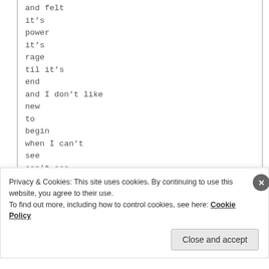and felt
it's
power
it's
rage
til it's
end
and I don't like
new
to
begin
when I can't
see
can't see
back
Privacy & Cookies: This site uses cookies. By continuing to use this website, you agree to their use.
To find out more, including how to control cookies, see here: Cookie Policy
Close and accept